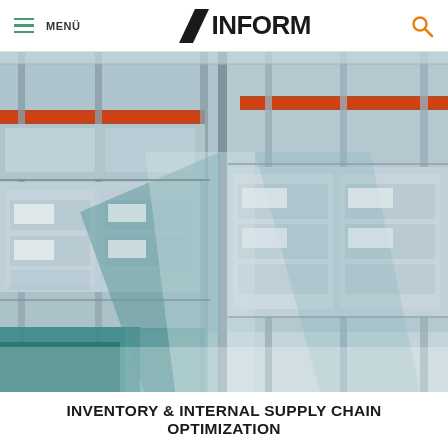≡ MENÜ | INFORM | 🔍
[Figure (photo): Warehouse interior with tall metal shelving racks filled with palletized boxes and goods, overlaid with a large semi-transparent diagonal slash/chevron watermark in teal and light colors.]
INVENTORY & INTERNAL SUPPLY CHAIN OPTIMIZATION